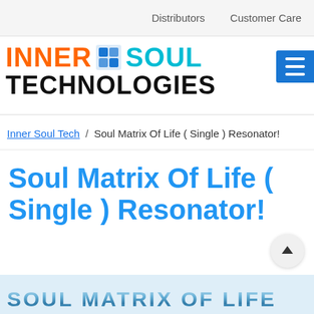Distributors   Customer Care
[Figure (logo): Inner Soul Technologies logo: INNER in orange, icon in center, SOUL in cyan, TECHNOLOGIES in black below]
Inner Soul Tech / Soul Matrix Of Life ( Single ) Resonator!
Soul Matrix Of Life ( Single ) Resonator!
[Figure (illustration): Blue metallic 3D text banner reading SOUL MATRIX OF LIFE at the bottom of the page]